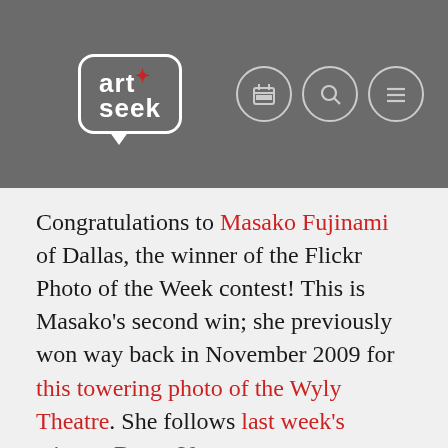[Figure (logo): Art+Seek logo in speech bubble shape on grey header bar with navigation icons (calendar, search, hamburger menu)]
Congratulations to Masako Fujinami of Dallas, the winner of the Flickr Photo of the Week contest! This is Masako's second win; she previously won way back in November 2009 for this towering photo of the Wyly Theatre. She follows last week's winner, Bryan Varner.
If you would like to participate in the Flickr Photo of the Week contest, all you need to do is upload your photo to our Flickr group page. It's fine to submit a photo you took earlier than the current week, but we are hoping that the